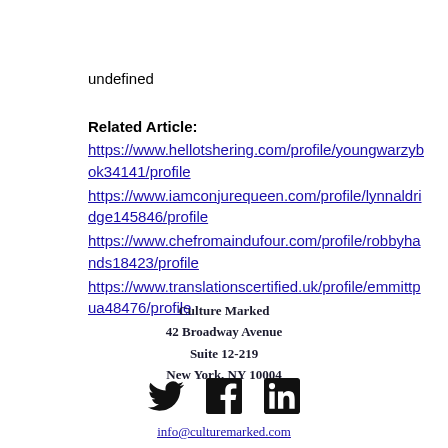undefined
Related Article:
https://www.hellotshering.com/profile/youngwarzybok34141/profile
https://www.iamconjurequeen.com/profile/lynnaldridge145846/profile
https://www.chefromaindufour.com/profile/robbyhands18423/profile
https://www.translationscertified.uk/profile/emmittpua48476/profile
Culture Marked
42 Broadway Avenue
Suite 12-219
New York, NY 10004
[Figure (infographic): Social media icons: Twitter bird, Facebook f, LinkedIn in]
info@culturemarked.com